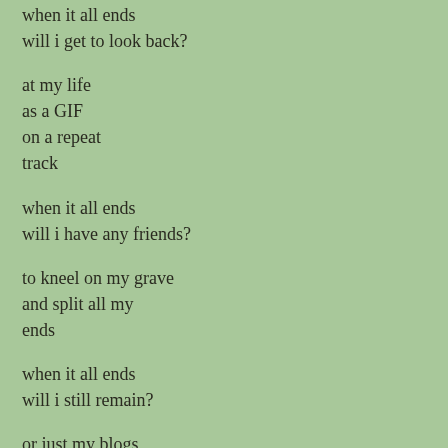when it all ends
will i get to look back?

at my life
as a GIF
on a repeat
track

when it all ends
will i have any friends?

to kneel on my grave
and split all my
ends

when it all ends
will i still remain?

or just my blogs
and my ebooks
digi-wet
in the